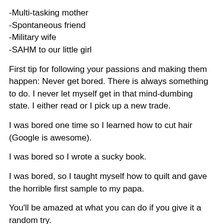-Multi-tasking mother
-Spontaneous friend
-Military wife
-SAHM to our little girl
First tip for following your passions and making them happen: Never get bored. There is always something to do. I never let myself get in that mind-dumbing state. I either read or I pick up a new trade.
I was bored one time so I learned how to cut hair (Google is awesome).
I was bored so I wrote a sucky book.
I was bored, so I taught myself how to quilt and gave the horrible first sample to my papa.
You'll be amazed at what you can do if you give it a random try.
As a family we move A LOT around the world, which gives